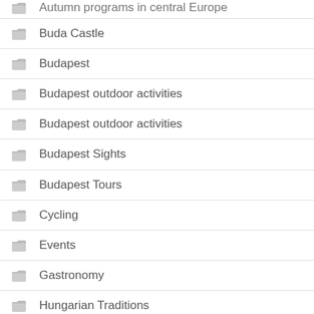Autumn programs in central Europe
Buda Castle
Budapest
Budapest outdoor activities
Budapest outdoor activities
Budapest Sights
Budapest Tours
Cycling
Events
Gastronomy
Hungarian Traditions